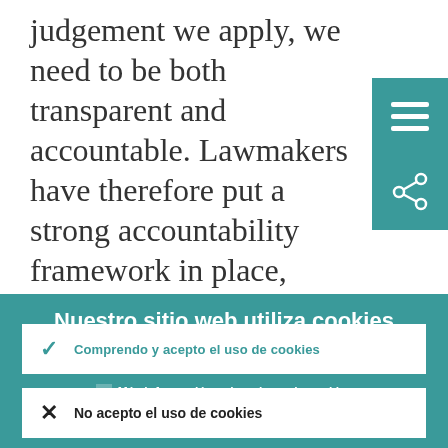judgement we apply, we need to be both transparent and accountable. Lawmakers have therefore put a strong accountability framework in place, which I fully support.
Nuestro sitio web utiliza cookies
Trabajamos constantemente para mejorar nuestro sitio web. Para ello utilizamos datos anónimos obtenidos a través de cookies.
› Más información sobre el uso de cookies
✓ Comprendo y acepto el uso de cookies
✗ No acepto el uso de cookies